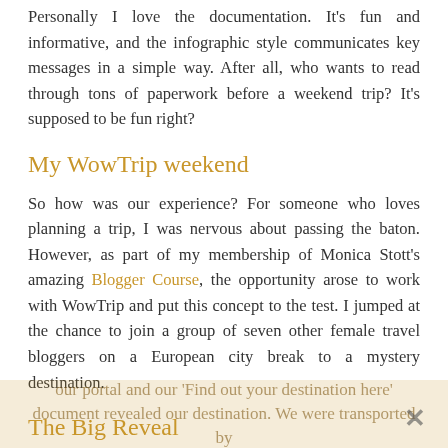Personally I love the documentation. It's fun and informative, and the infographic style communicates key messages in a simple way. After all, who wants to read through tons of paperwork before a weekend trip? It's supposed to be fun right?
My WowTrip weekend
So how was our experience? For someone who loves planning a trip, I was nervous about passing the baton. However, as part of my membership of Monica Stott's amazing Blogger Course, the opportunity arose to work with WowTrip and put this concept to the test. I jumped at the chance to join a group of seven other female travel bloggers on a European city break to a mystery destination.
The Big Reveal
Two days before our trip, all the documents were uploaded to our portal and our 'Find out your destination here' document revealed our destination. We were transported by...